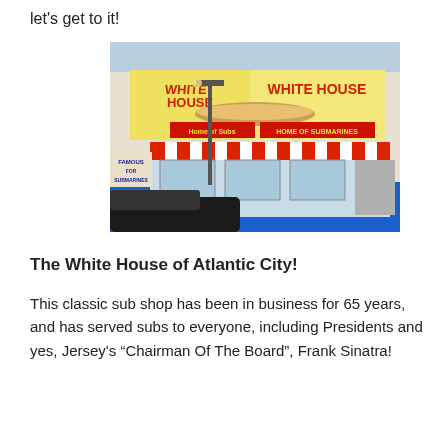let's get to it!
[Figure (photo): Exterior photo of White House Sub Shop in Atlantic City. The storefront has a large sign reading 'WHITE HOUSE' and 'HOME OF SUBMARINES', red and white striped awnings, blue lower facade, and a sign on the left reading 'FAMOUS FOR SUBMARINES'.]
The White House of Atlantic City!
This classic sub shop has been in business for 65 years, and has served subs to everyone, including Presidents and yes, Jersey's “Chairman Of The Board”, Frank Sinatra!